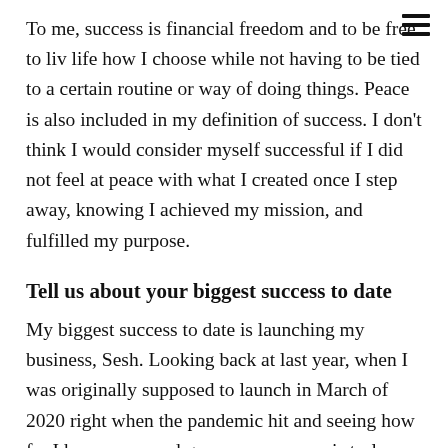To me, success is financial freedom and to be free to live life how I choose while not having to be tied to a certain routine or way of doing things. Peace is also included in my definition of success. I don't think I would consider myself successful if I did not feel at peace with what I created once I step away, knowing I achieved my mission, and fulfilled my purpose.
Tell us about your biggest success to date
My biggest success to date is launching my business, Sesh. Looking back at last year, when I was originally supposed to launch in March of 2020 right when the pandemic hit and seeing how far I have come and grown as a person is truly remarkable. I have a ways to go to achieve success as I define it, but the launch of my business is just the beginning